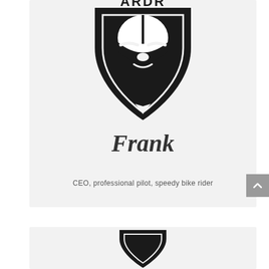[Figure (logo): ARDR brand logo: a shield shape with a helmeted goat/ram face silhouette in black and white, with 'ARDR' text at the top of the shield]
Frank
CEO, professional pilot, speedy bike rider
[Figure (logo): Partial view of another logo/card at bottom, only top portion visible]